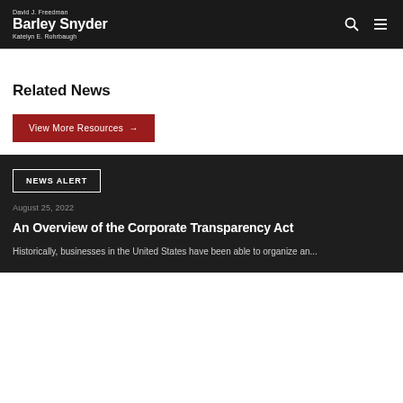David J. Freedman | Barley Snyder | Katelyn E. Rohrbaugh
Related News
View More Resources →
NEWS ALERT
August 25, 2022
An Overview of the Corporate Transparency Act
Historically, businesses in the United States have been able to organize an...